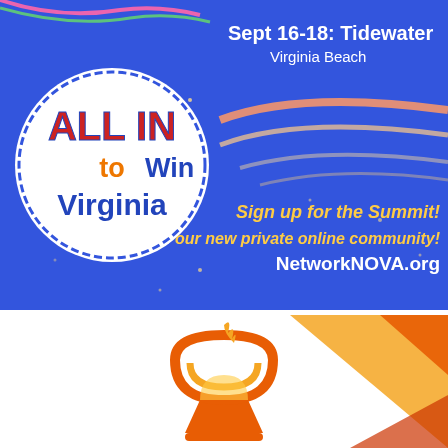[Figure (infographic): Blue banner for 'All In to Win Virginia' summit at Tidewater, Virginia Beach, Sept 16-18. White circle logo with colorful text, decorative wave lines, and call-to-action text including NetworkNOVA.org]
[Figure (logo): Unitarian Universalist chalice logo in orange/red gradient colors on white background with decorative geometric shapes in top-right corner]